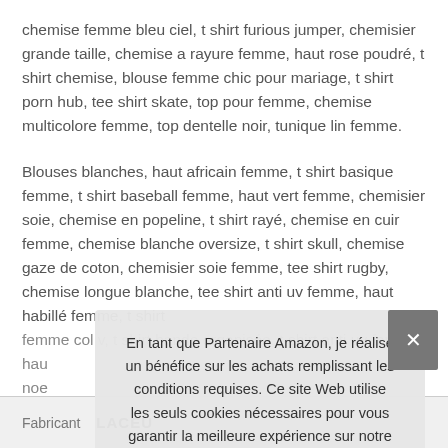chemise femme bleu ciel, t shirt furious jumper, chemisier grande taille, chemise a rayure femme, haut rose poudré, t shirt chemise, blouse femme chic pour mariage, t shirt porn hub, tee shirt skate, top pour femme, chemise multicolore femme, top dentelle noir, tunique lin femme.
Blouses blanches, haut africain femme, t shirt basique femme, t shirt baseball femme, haut vert femme, chemisier soie, chemise en popeline, t shirt rayé, chemise en cuir femme, chemise blanche oversize, t shirt skull, chemise gaze de coton, chemisier soie femme, tee shirt rugby, chemise longue blanche, tee shirt anti uv femme, haut habillé femme, t shirt femme col v, t shirt bande organisée, t shirt anti uv femme, hau... noe...
En tant que Partenaire Amazon, je réalise un bénéfice sur les achats remplissant les conditions requises. Ce site Web utilise les seuls cookies nécessaires pour vous garantir la meilleure expérience sur notre site Web. Plus d'information
| Fabricant | LACEU |
| --- | --- |